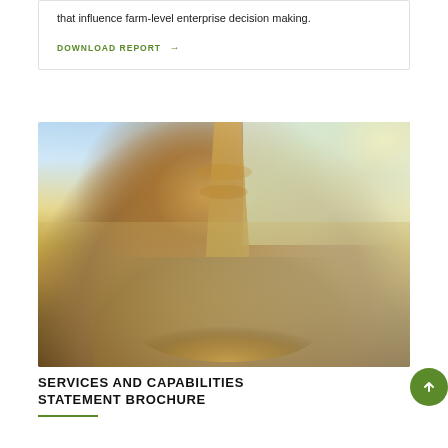that influence farm-level enterprise decision making.
DOWNLOAD REPORT →
[Figure (photo): Grain being poured from a combine harvester into a pile, with a field and hazy sky in the background. Close-up shot showing golden grain cascading downward.]
SERVICES AND CAPABILITIES STATEMENT BROCHURE